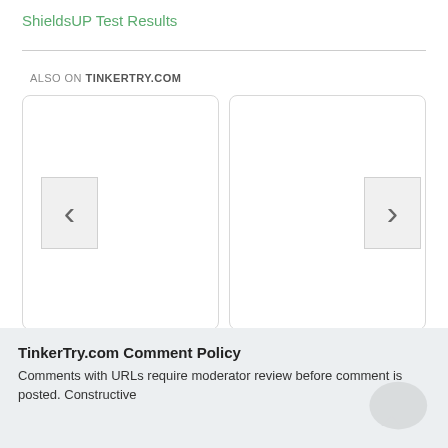ShieldsUP Test Results
[Figure (other): Two side-by-side content cards with left chevron navigation button on the left card and right chevron navigation button on the right card, under an 'ALSO ON TINKERTRY.COM' heading]
TinkerTry.com Comment Policy
Comments with URLs require moderator review before comment is posted. Constructive